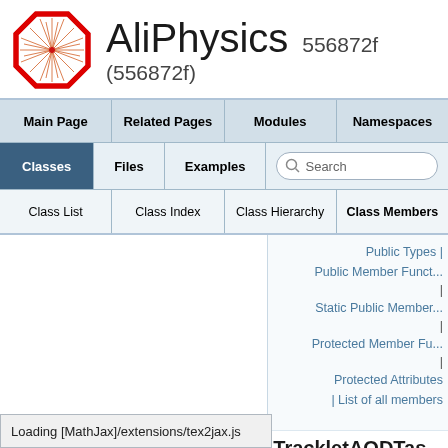AliPhysics 556872f (556872f)
[Figure (logo): AliPhysics logo: red octagon outline with starburst pattern inside]
Main Page | Related Pages | Modules | Namespaces
Classes | Files | Examples | Search
Class List | Class Index | Class Hierarchy | Class Members
Public Types | Public Member Funct... | Static Public Member... | Protected Member Fu... | Protected Attributes | List of all members
AliTrackletAODTas...